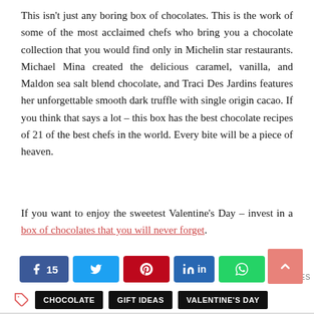This isn't just any boring box of chocolates. This is the work of some of the most acclaimed chefs who bring you a chocolate collection that you would find only in Michelin star restaurants. Michael Mina created the delicious caramel, vanilla, and Maldon sea salt blend chocolate, and Traci Des Jardins features her unforgettable smooth dark truffle with single origin cacao. If you think that says a lot – this box has the best chocolate recipes of 21 of the best chefs in the world. Every bite will be a piece of heaven.
If you want to enjoy the sweetest Valentine's Day – invest in a box of chocolates that you will never forget.
[Figure (infographic): Social share bar with Facebook (15), Twitter, Pinterest, LinkedIn, WhatsApp buttons and a total of 15 SHARES]
Tags: CHOCOLATE, GIFT IDEAS, VALENTINE'S DAY